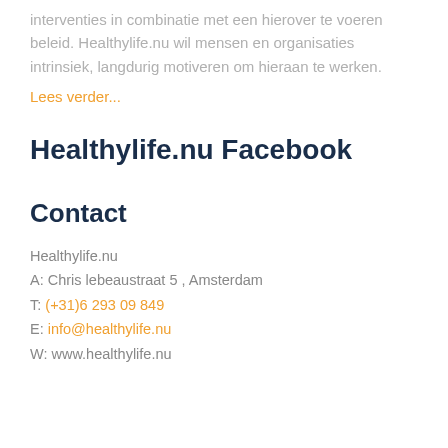interventies in combinatie met een hierover te voeren beleid. Healthylife.nu wil mensen en organisaties intrinsiek, langdurig motiveren om hieraan te werken.
Lees verder...
Healthylife.nu Facebook
Contact
Healthylife.nu
A: Chris lebeaustraat 5 , Amsterdam
T: (+31)6 293 09 849
E: info@healthylife.nu
W: www.healthylife.nu